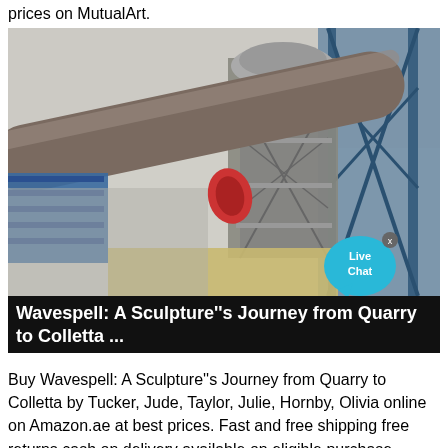prices on MutualArt.
[Figure (photo): Industrial facility photograph showing a large cylindrical pipe or conveyor at an angle, connected to a multi-level metallic tower structure with a dome-like cap. Blue steel scaffolding and crane structure visible on the right. A 'Live Chat' bubble badge overlaid in the lower-right area of the image.]
Wavespell: A Sculpture''s Journey from Quarry to Colletta ...
Buy Wavespell: A Sculpture''s Journey from Quarry to Colletta by Tucker, Jude, Taylor, Julie, Hornby, Olivia online on Amazon.ae at best prices. Fast and free shipping free returns cash on delivery available on eligible purchase.